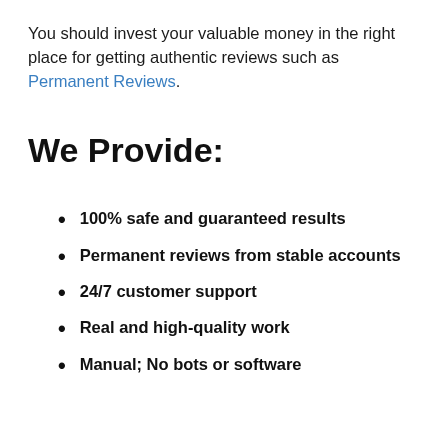You should invest your valuable money in the right place for getting authentic reviews such as Permanent Reviews.
We Provide:
100% safe and guaranteed results
Permanent reviews from stable accounts
24/7 customer support
Real and high-quality work
Manual; No bots or software